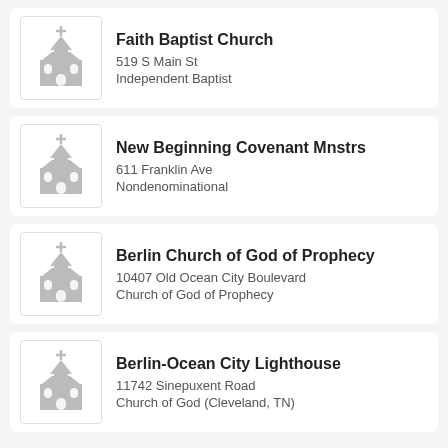Faith Baptist Church
519 S Main St
Independent Baptist
New Beginning Covenant Mnstrs
611 Franklin Ave
Nondenominational
Berlin Church of God of Prophecy
10407 Old Ocean City Boulevard
Church of God of Prophecy
Berlin-Ocean City Lighthouse
11742 Sinepuxent Road
Church of God (Cleveland, TN)